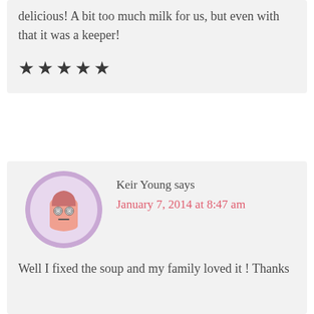delicious! A bit too much milk for us, but even with that it was a keeper!
★★★★★
[Figure (illustration): Cartoon avatar of a person with spiral eyes and a flat expression, set against a purple/mauve circular background]
Keir Young says
January 7, 2014 at 8:47 am
Well I fixed the soup and my family loved it ! Thanks